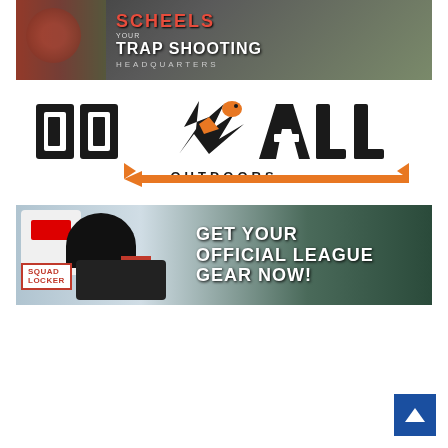[Figure (advertisement): Scheels advertisement - Your Trap Shooting Headquarters. Shows a person in red gear with trap shooting imagery.]
[Figure (logo): Do All Outdoors logo - bold black block letters with orange chevron accents and a bird/mascot graphic]
[Figure (advertisement): Squad Locker advertisement - Get Your Official League Gear Now! Shows USA t-shirt, black cap, and duffel bag with Squad Locker branding.]
[Figure (other): Back to top button - blue square with white upward chevron arrow]